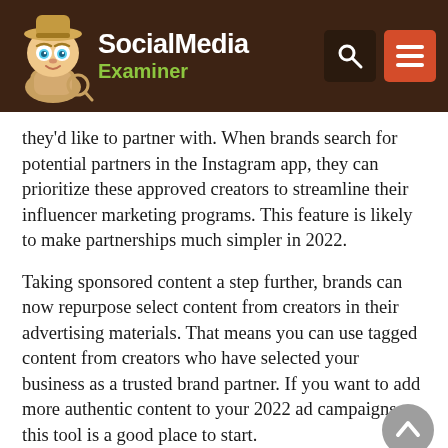Social Media Examiner
they'd like to partner with. When brands search for potential partners in the Instagram app, they can prioritize these approved creators to streamline their influencer marketing programs. This feature is likely to make partnerships much simpler in 2022.
Taking sponsored content a step further, brands can now repurpose select content from creators in their advertising materials. That means you can use tagged content from creators who have selected your business as a trusted brand partner. If you want to add more authentic content to your 2022 ad campaigns, this tool is a good place to start.